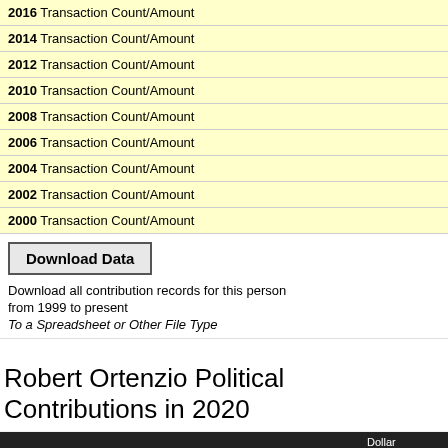2016 Transaction Count/Amount
2014 Transaction Count/Amount
2012 Transaction Count/Amount
2010 Transaction Count/Amount
2008 Transaction Count/Amount
2006 Transaction Count/Amount
2004 Transaction Count/Amount
2002 Transaction Count/Amount
2000 Transaction Count/Amount
Download Data
Download all contribution records for this person
from 1999 to present
To a Spreadsheet or Other File Type
Robert Ortenzio Political Contributions in 2020
| Name & Location | Employer/Occupation | Dollar Amount | Date |
| --- | --- | --- | --- |
| ORTENZIO, ROBERT A. MR.
MECHANICSBURG, PA 17055 | Select Medical/Select Medical/Ceo | $5,000 | 10/11/20 |
| ORTENZIO, ROBERT A. |  |  |  |